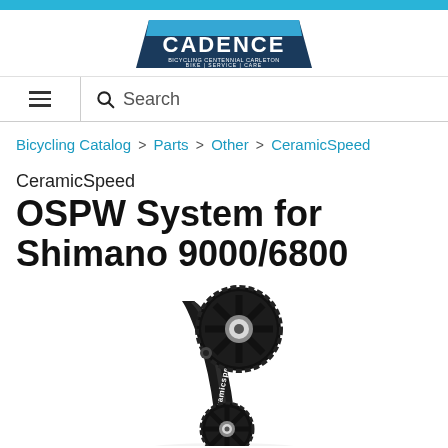[Figure (logo): Cadence cycling logo — dark blue trapezoid shape with white text 'CADENCE' and tagline 'BICYCLING CENTENNIAL CARLETON / BIKE | SERVICE | CARE']
≡  🔍  Search
Bicycling Catalog > Parts > Other > CeramicSpeed
CeramicSpeed OSPW System for Shimano 9000/6800
[Figure (photo): Product photo of a CeramicSpeed OSPW (Oversized Pulley Wheel) System component for Shimano 9000/6800 — a black carbon fiber derailleur cage arm with large oversized black aluminum pulley wheels with CeramicSpeed branding, shown on a white background.]